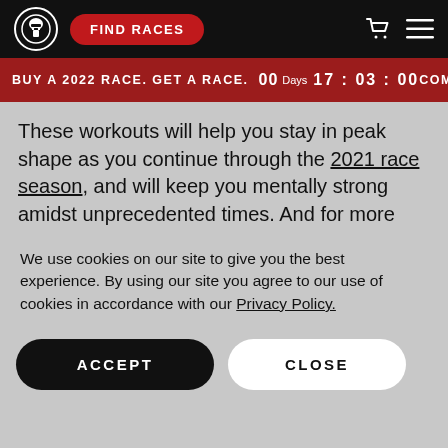FIND RACES
BUY A 2022 RACE. GET A RACE. 00 Days 17 : 03 : 00 COMMIT >
These workouts will help you stay in peak shape as you continue through the 2021 race season, and will keep you mentally strong amidst unprecedented times. And for more comprehensive training programs with elite athletes and coaches, make sure to download the Spartan Fit app.
We use cookies on our site to give you the best experience. By using our site you agree to our use of cookies in accordance with our Privacy Policy.
ACCEPT
CLOSE